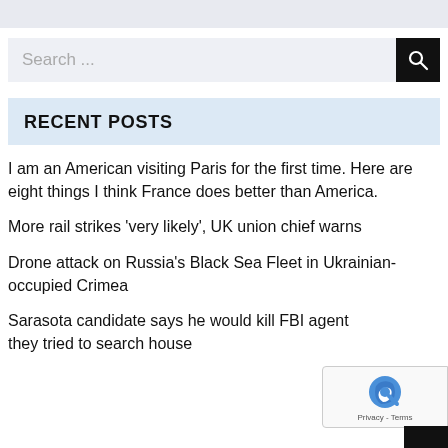Search ...
RECENT POSTS
I am an American visiting Paris for the first time. Here are eight things I think France does better than America.
More rail strikes 'very likely', UK union chief warns
Drone attack on Russia's Black Sea Fleet in Ukrainian-occupied Crimea
Sarasota candidate says he would kill FBI agents if they tried to search house